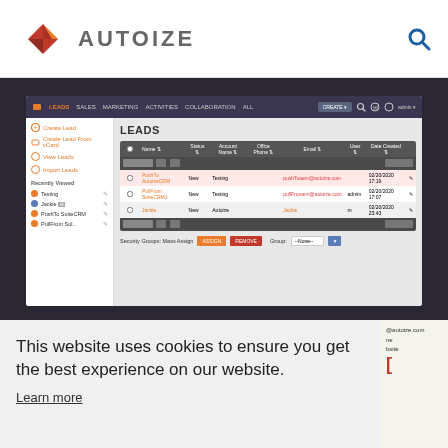[Figure (logo): Autoize logo with diamond/arrow icon and text AUTOIZE]
[Figure (screenshot): Screenshot of Autoize CRM web app showing Leads module with table of leads, sidebar navigation, and security groups mass assign controls]
This website uses cookies to ensure you get the best experience on our website.
Learn more
Got it!